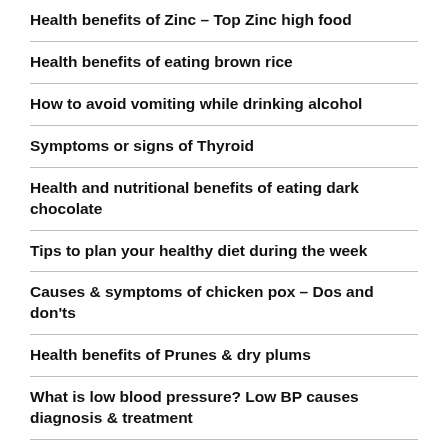Health benefits of Zinc – Top Zinc high food
Health benefits of eating brown rice
How to avoid vomiting while drinking alcohol
Symptoms or signs of Thyroid
Health and nutritional benefits of eating dark chocolate
Tips to plan your healthy diet during the week
Causes & symptoms of chicken pox – Dos and don'ts
Health benefits of Prunes & dry plums
What is low blood pressure? Low BP causes diagnosis & treatment